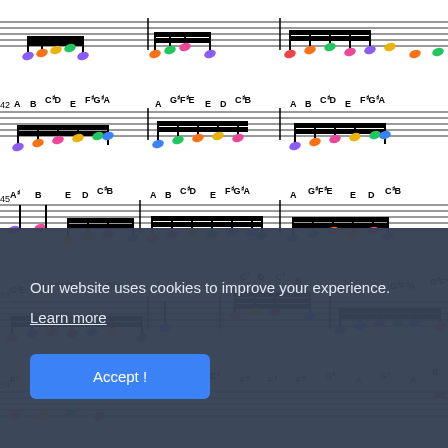[Figure (illustration): Sheet music score with color-coded note heads showing musical notes labeled with letter names (A, B, C#, D, E, F#, G#, etc.) across multiple measures on a staff. Measure numbers 42, 45, 48, 54 visible. Notes are colored in purple, orange, green, pink, blue, yellow, red.]
Our website uses cookies to improve your experience. Learn more
Accept !